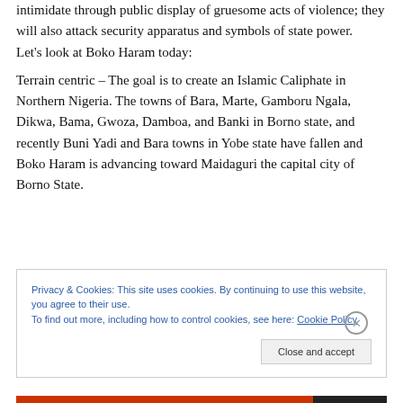intimidate through public display of gruesome acts of violence; they will also attack security apparatus and symbols of state power.
Let's look at Boko Haram today:
Terrain centric – The goal is to create an Islamic Caliphate in Northern Nigeria. The towns of Bara, Marte, Gamboru Ngala, Dikwa, Bama, Gwoza, Damboa, and Banki in Borno state, and recently Buni Yadi and Bara towns in Yobe state have fallen and Boko Haram is advancing toward Maidaguri the capital city of Borno State.
Privacy & Cookies: This site uses cookies. By continuing to use this website, you agree to their use. To find out more, including how to control cookies, see here: Cookie Policy
Close and accept